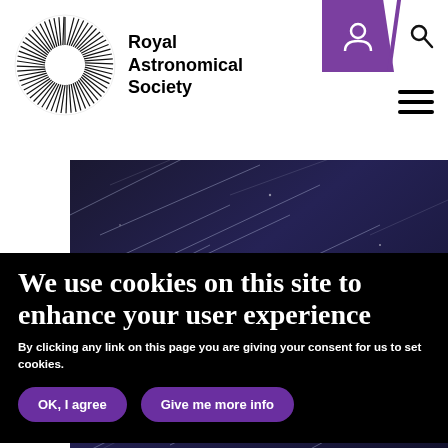[Figure (logo): Royal Astronomical Society logo — circular sunburst emblem with radiating lines, next to bold text 'Royal Astronomical Society']
[Figure (photo): Long-exposure night sky photograph showing star trails as diagonal streaks of light across a deep blue-purple sky]
Trails caused by the fifth deployment of satellites making up
We use cookies on this site to enhance your user experience
By clicking any link on this page you are giving your consent for us to set cookies.
OK, I agree
Give me more info